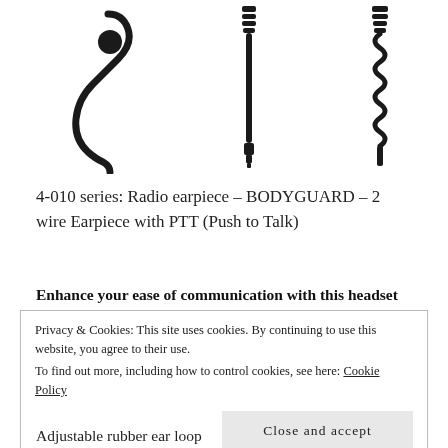[Figure (photo): Three product images of radio earpiece components: a C-shaped ear hook earpiece on the left, a straight cable/connector in the middle, and a coiled cable connector on the right, all in black.]
4-010 series: Radio earpiece – BODYGUARD – 2 wire Earpiece with PTT (Push to Talk)
Enhance your ease of communication with this headset
Privacy & Cookies: This site uses cookies. By continuing to use this website, you agree to their use.
To find out more, including how to control cookies, see here: Cookie Policy
Close and accept
Adjustable rubber ear loop